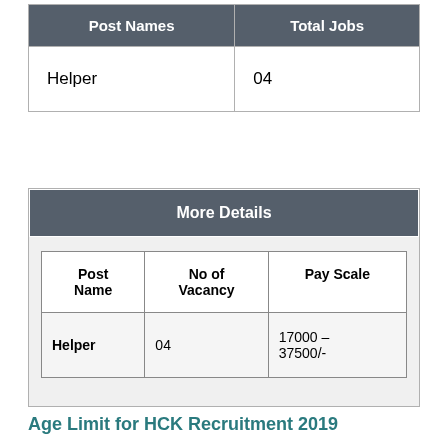| Post Names | Total Jobs |
| --- | --- |
| Helper | 04 |
| More Details |
| --- |
| Post Name | No of Vacancy | Pay Scale |
| Helper | 04 | 17000 – 37500/- |
Age Limit for HCK Recruitment 2019